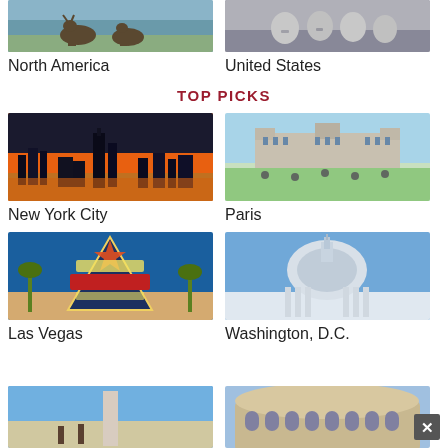[Figure (photo): North America - animals in water (elk/moose)]
North America
[Figure (photo): United States - Mount Rushmore]
United States
TOP PICKS
[Figure (photo): New York City skyline at sunset/dusk with orange sky]
New York City
[Figure (photo): Paris - Luxembourg Gardens with palace building]
Paris
[Figure (photo): Las Vegas - Welcome to Las Vegas Nevada sign]
Las Vegas
[Figure (photo): Washington, D.C. - Capitol dome]
Washington, D.C.
[Figure (photo): Partial photo - surfers on beach (bottom strip)]
[Figure (photo): Partial photo - Colosseum Rome (bottom strip)]